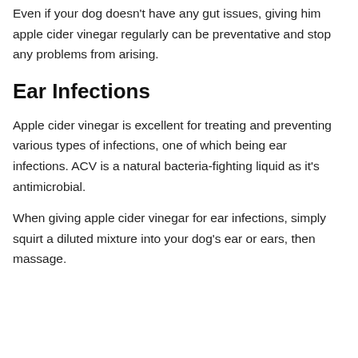Even if your dog doesn't have any gut issues, giving him apple cider vinegar regularly can be preventative and stop any problems from arising.
Ear Infections
Apple cider vinegar is excellent for treating and preventing various types of infections, one of which being ear infections. ACV is a natural bacteria-fighting liquid as it's antimicrobial.
When giving apple cider vinegar for ear infections, simply squirt a diluted mixture into your dog's ear or ears, then massage.